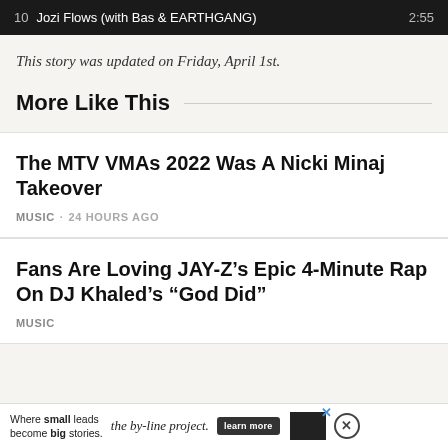[Figure (screenshot): Music player bar showing track 10: Jozi Flows (with Bas & EARTHGANG), duration 2:55]
This story was updated on Friday, April 1st.
More Like This
The MTV VMAs 2022 Was A Nicki Minaj Takeover
MUSIC · 24 HOURS AGO
Fans Are Loving JAY-Z's Epic 4-Minute Rap On DJ Khaled's “God Did”
MUSIC
[Figure (other): Advertisement banner: 'Where small leads become big stories. the by-line project. learn more' with close button]